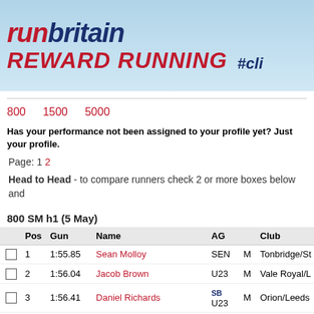[Figure (logo): RunBritain Reward Running logo with hashtag #cli... on blue gradient background]
800   1500   5000
Has your performance not been assigned to your profile yet? Just your profile.
Page: 1 2
Head to Head - to compare runners check 2 or more boxes below and
800 SM h1 (5 May)
|  | Pos | Gun | Name | AG |  | Club |
| --- | --- | --- | --- | --- | --- | --- |
| ☐ | 1 | 1:55.85 | Sean Molloy | SEN | M | Tonbridge/St |
| ☐ | 2 | 1:56.04 | Jacob Brown | U23 | M | Vale Royal/L |
| ☐ | 3 | 1:56.41 | Daniel Richards | SB U23 | M | Orion/Leeds |
| ☐ | 4 | 1:57.38 | Matthew Williams | U23 | M | Pembrokesh |
| ☐ | 5 | 1:58.48 | Charlie Sneddon | PB U20 | M | Oxford Uni |